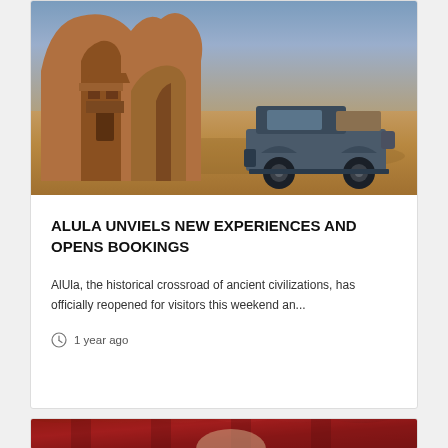[Figure (photo): Photo of a 4x4 jeep/truck parked in front of a large sandstone rock formation carved with ancient tomb facades, desert landscape, dusk sky]
ALULA UNVIELS NEW EXPERIENCES AND OPENS BOOKINGS
AlUla, the historical crossroad of ancient civilizations, has officially reopened for visitors this weekend an...
1 year ago
[Figure (photo): Portrait photo of a woman against a dark red draped background, wearing a white top with earrings, resting her head on her hand]